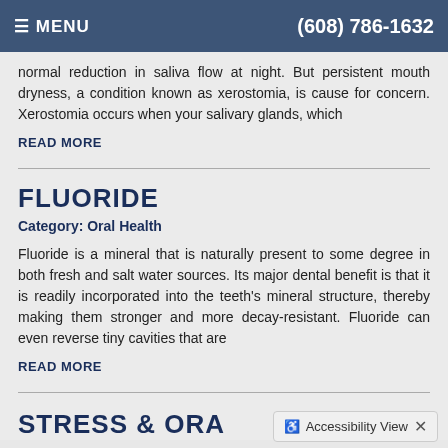≡ MENU   (608) 786-1632
normal reduction in saliva flow at night. But persistent mouth dryness, a condition known as xerostomia, is cause for concern. Xerostomia occurs when your salivary glands, which
READ MORE
FLUORIDE
Category: Oral Health
Fluoride is a mineral that is naturally present to some degree in both fresh and salt water sources. Its major dental benefit is that it is readily incorporated into the teeth's mineral structure, thereby making them stronger and more decay-resistant. Fluoride can even reverse tiny cavities that are
READ MORE
STRESS & ORA